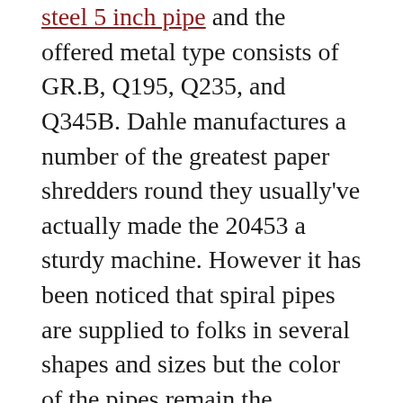steel 5 inch pipe and the offered metal type consists of GR.B, Q195, Q235, and Q345B. Dahle manufactures a number of the greatest paper shredders round they usually've actually made the 20453 a sturdy machine. However it has been noticed that spiral pipes are supplied to folks in several shapes and sizes but the color of the pipes remain the identical which somehow does not have a great affect on the company however the general influence of the corporate is sort of good as they'd been making an attempt their finest to supply people with all potential higher pipes relatively than making people to face any sort of drawback.
Enchancment – rolling oil on the cold rolled strip is burned off throughout this technique that is